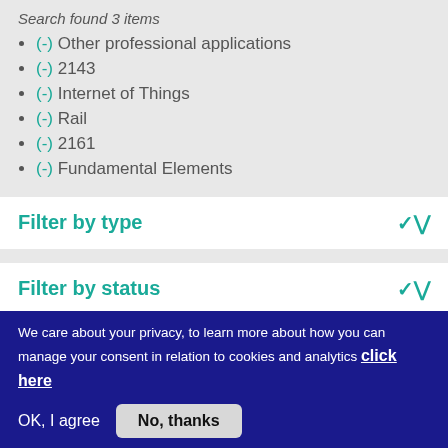Search found 3 items
(-) Other professional applications
(-) 2143
(-) Internet of Things
(-) Rail
(-) 2161
(-) Fundamental Elements
Filter by type
Filter by status
We care about your privacy, to learn more about how you can manage your consent in relation to cookies and analytics click here
OK, I agree
No, thanks